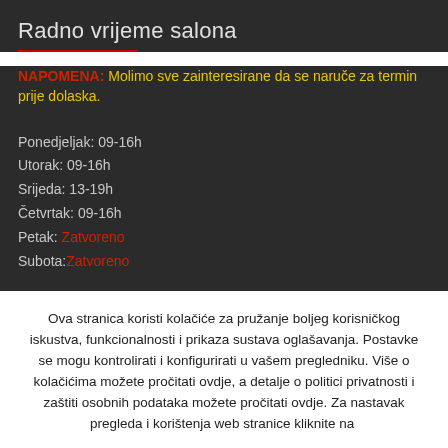Radno vrijeme salona
NAPOMENA: Molimo sve zainteresirane da se naruče za termin prije dolaska.
Ponedjeljak: 09-16h
Utorak: 09-16h
Srijeda: 13-19h
Četvrtak: 09-16h
Petak: Zatvoreno
Subota: Zatvoreno
Ova stranica koristi kolačiće za pružanje boljeg korisničkog iskustva, funkcionalnosti i prikaza sustava oglašavanja. Postavke se mogu kontrolirati i konfigurirati u vašem pregledniku. Više o kolačićima možete pročitati ovdje, a detalje o politici privatnosti i zaštiti osobnih podataka možete pročitati ovdje. Za nastavak pregleda i korištenja web stranice kliknite na PRIHVAĆAM